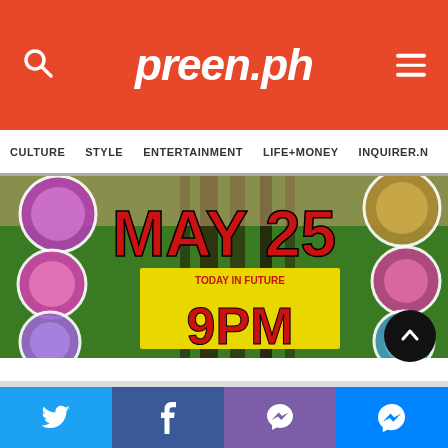preen.ph
CULTURE   STYLE   ENTERTAINMENT   LIFE+MONEY   INQUIRER.N
[Figure (photo): Promotional image showing MAY 25 TODAY IN FUTURE 9PM event poster with decorative circular ornaments on green and brown background, hands visible at top]
Twitter share | Facebook share | Viber share | Messenger share